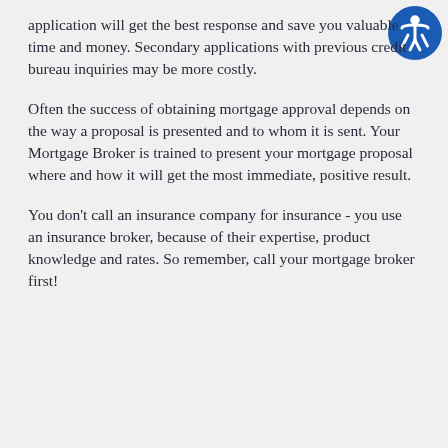application will get the best response and save you valuable time and money. Secondary applications with previous credit bureau inquiries may be more costly.
Often the success of obtaining mortgage approval depends on the way a proposal is presented and to whom it is sent. Your Mortgage Broker is trained to present your mortgage proposal where and how it will get the most immediate, positive result.
You don't call an insurance company for insurance - you use an insurance broker, because of their expertise, product knowledge and rates. So remember, call your mortgage broker first!